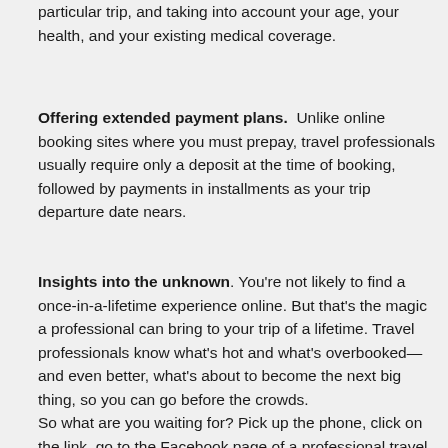particular trip, and taking into account your age, your health, and your existing medical coverage.
Offering extended payment plans.  Unlike online booking sites where you must prepay, travel professionals usually require only a deposit at the time of booking, followed by payments in installments as your trip departure date nears.
Insights into the unknown. You're not likely to find a once-in-a-lifetime experience online. But that's the magic a professional can bring to your trip of a lifetime. Travel professionals know what's hot and what's overbooked—and even better, what's about to become the next big thing, so you can go before the crowds. So what are you waiting for? Pick up the phone, click on the link, go to the Facebook page of a professional travel